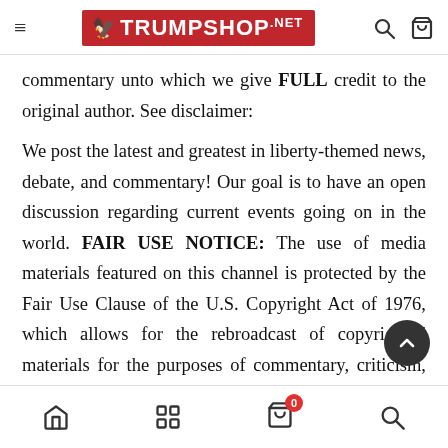[Figure (screenshot): TrumpShop.net website header navigation bar with hamburger menu, logo (eagle + TRUMPSHOP.NET in red), search icon, and cart icon]
commentary unto which we give FULL credit to the original author. See disclaimer:
We post the latest and greatest in liberty-themed news, debate, and commentary! Our goal is to have an open discussion regarding current events going on in the world. FAIR USE NOTICE: The use of media materials featured on this channel is protected by the Fair Use Clause of the U.S. Copyright Act of 1976, which allows for the rebroadcast of copyrighted materials for the purposes of commentary, criticism, or education. If any copyright owner has an issue or concern with a specific article or the statutory 25%-of-article rule, please send us an e-mail to request prompt removal or
[Figure (screenshot): Bottom navigation bar with home icon, grid/menu icon, shopping cart with badge showing 0, and search icon]